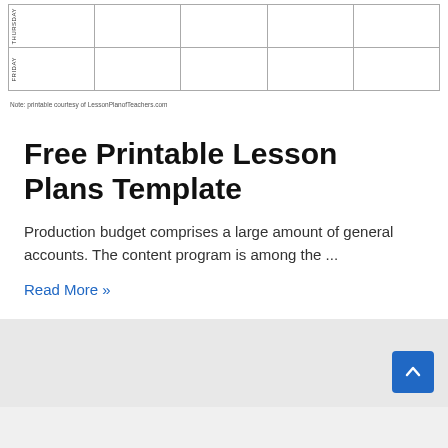[Figure (table-as-image): Partial weekly lesson plan schedule table showing Thursday and Friday rows with empty columns]
Note: printable courtesy of LessonPlanofTeachers.com
Free Printable Lesson Plans Template
Production budget comprises a large amount of general accounts. The content program is among the ...
Read More »